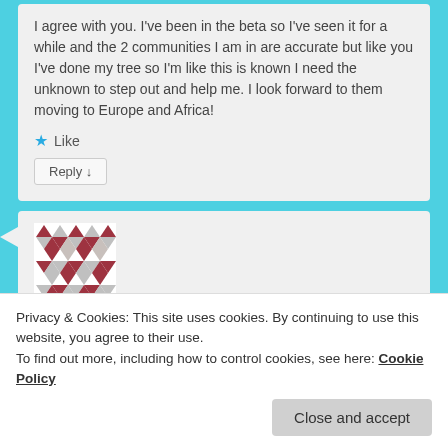I agree with you. I've been in the beta so I've seen it for a while and the 2 communities I am in are accurate but like you I've done my tree so I'm like this is known I need the unknown to step out and help me. I look forward to them moving to Europe and Africa!
★ Like
Reply ↓
[Figure (illustration): Avatar image made of geometric diamond/triangle pattern in dark red/maroon colors]
Privacy & Cookies: This site uses cookies. By continuing to use this website, you agree to their use.
To find out more, including how to control cookies, see here: Cookie Policy
Close and accept